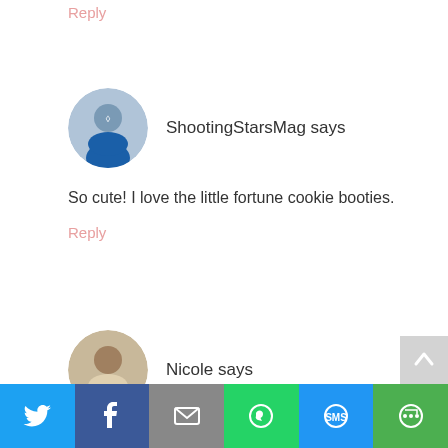Reply
[Figure (photo): Circular avatar photo of ShootingStarsMag commenter, woman in blue shirt with arms crossed]
ShootingStarsMag says
So cute! I love the little fortune cookie booties.
Reply
[Figure (photo): Circular avatar photo of Nicole commenter, woman smiling]
Nicole says
I adore the unicorn booties. No plans for more kids in our future, but I will save this for any baby showers. Thanks fo
[Figure (infographic): Social share bar with Twitter, Facebook, Email, WhatsApp, SMS, and More buttons]